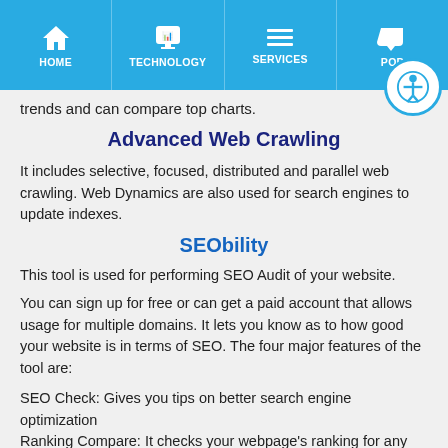HOME | TECHNOLOGY | SERVICES | POP
trends and can compare top charts.
Advanced Web Crawling
It includes selective, focused, distributed and parallel web crawling. Web Dynamics are also used for search engines to update indexes.
SEObility
This tool is used for performing SEO Audit of your website.
You can sign up for free or can get a paid account that allows usage for multiple domains. It lets you know as to how good your website is in terms of SEO. The four major features of the tool are:
SEO Check: Gives you tips on better search engine optimization
Ranking Compare: It checks your webpage's ranking for any particular word.